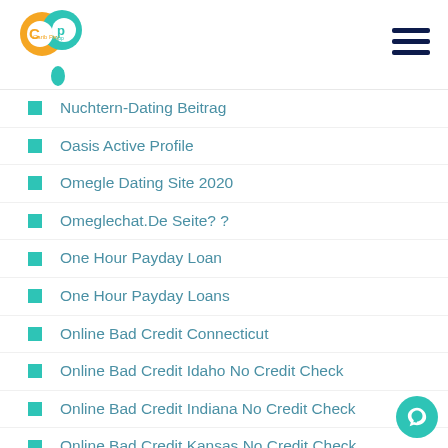Carib Pay App
Nuchtern-Dating Beitrag
Oasis Active Profile
Omegle Dating Site 2020
Omeglechat.De Seite? ?
One Hour Payday Loan
One Hour Payday Loans
Online Bad Credit Connecticut
Online Bad Credit Idaho No Credit Check
Online Bad Credit Indiana No Credit Check
Online Bad Credit Kansas No Credit Check
Online Bad Credit Loans Texas